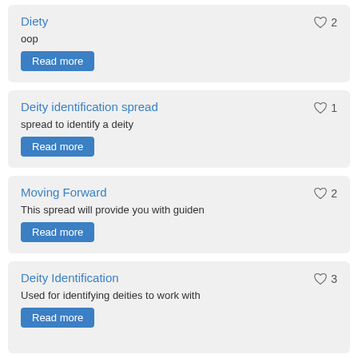Diety
oop
2
Deity identification spread
spread to identify a deity
1
Moving Forward
This spread will provide you with guiden
2
Deity Identification
Used for identifying deities to work with
3